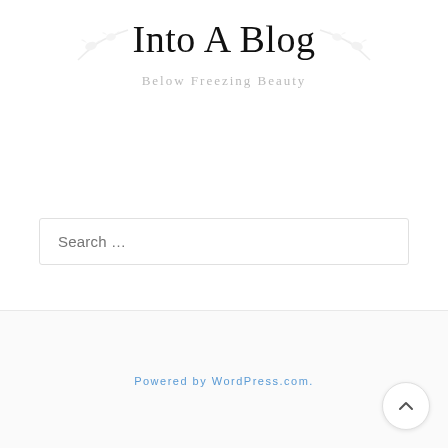Into A Blog
Below Freezing Beauty
Search …
Powered by WordPress.com.